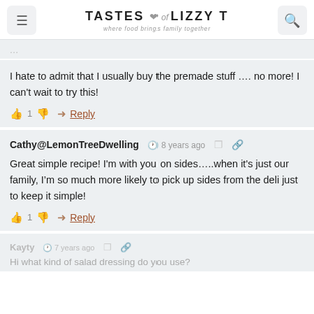TASTES of LIZZY T — where food brings family together
I hate to admit that I usually buy the premade stuff …. no more! I can't wait to try this!
👍 1 👎 ➤ Reply
Cathy@LemonTreeDwelling  🕐 8 years ago
Great simple recipe! I'm with you on sides…..when it's just our family, I'm so much more likely to pick up sides from the deli just to keep it simple!
👍 1 👎 ➤ Reply
Kayty  🕐 7 years ago
Hi what kind of salad dressing do you use?